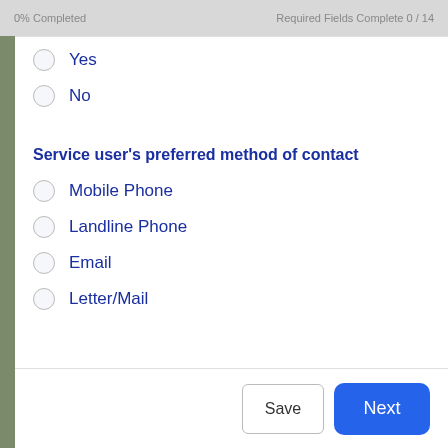0% Completed   Required Fields Complete 0 / 14
Yes
No
Service user's preferred method of contact
Mobile Phone
Landline Phone
Email
Letter/Mail